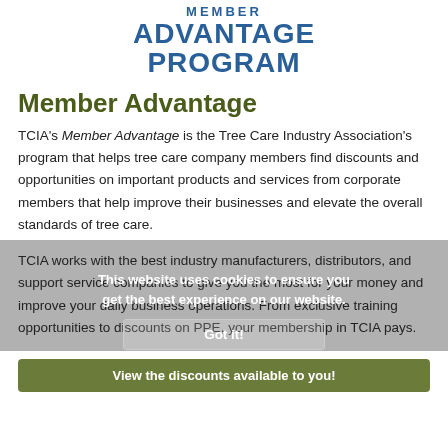MEMBER ADVANTAGE PROGRAM
Member Advantage
TCIA's Member Advantage is the Tree Care Industry Association's program that helps tree care company members find discounts and opportunities on important products and services from corporate members that help improve their businesses and elevate the overall standards of tree care.
TCIA works with the best industry manufacturers, distributors, and support service companies to give you the most for your money and improve your daily business operations. From exclusive training opportunities to discounts on PPE, your membership in TCIA pays.
This website uses cookies to ensure you get the best experience on our website. Got it!
View the discounts available to you!